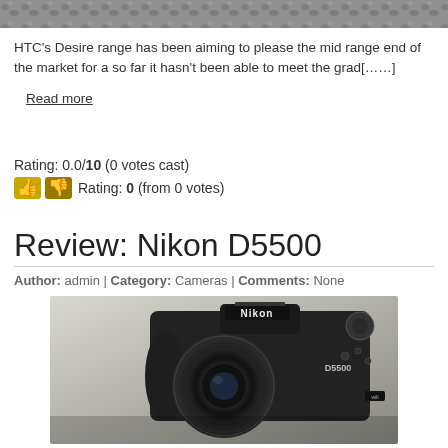[Figure (photo): Cropped top portion of an outdoor/nature photo, showing textured rocky or bark-like surface in grey/brown tones.]
HTC's Desire range has been aiming to please the mid range end of the market for a so far it hasn't been able to meet the grad[……]
Read more
[Figure (other): 10 empty star rating icons in a row (rating display)]
Rating: 0.0/10 (0 votes cast)
👍👎 Rating: 0 (from 0 votes)
Review: Nikon D5500
Author: admin | Category: Cameras | Comments: None
[Figure (photo): Close-up photo of a Nikon D5500 DSLR camera with lens, showing Nikon branding and D5500 label on body.]